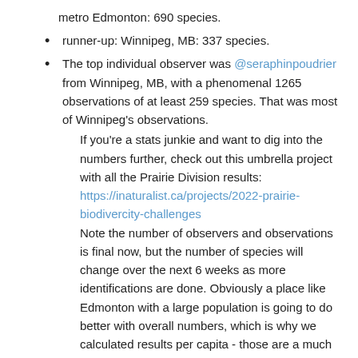metro Edmonton: 690 species.
runner-up: Winnipeg, MB: 337 species.
The top individual observer was @seraphinpoudrier from Winnipeg, MB, with a phenomenal 1265 observations of at least 259 species. That was most of Winnipeg's observations.
If you're a stats junkie and want to dig into the numbers further, check out this umbrella project with all the Prairie Division results: https://inaturalist.ca/projects/2022-prairie-biodivercity-challenges
Note the number of observers and observations is final now, but the number of species will change over the next 6 weeks as more identifications are done. Obviously a place like Edmonton with a large population is going to do better with overall numbers, which is why we calculated results per capita - those are a much better measure of participation.